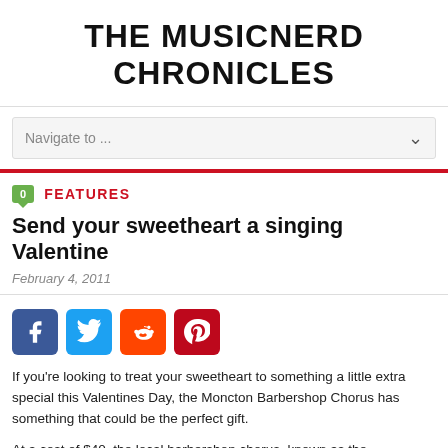THE MUSICNERD CHRONICLES
Navigate to ...
FEATURES
Send your sweetheart a singing Valentine
February 4, 2011
[Figure (infographic): Social sharing icons: Facebook (blue), Twitter (light blue), Reddit (orange), Pinterest (red)]
If you're looking to treat your sweetheart to something a little extra special this Valentines Day, the Moncton Barbershop Chorus has something that could be the perfect gift.
At a cost of $40, the local barbershop chorus, known as the "Gentlemen of Harmony" will send one of their quartets to your honey's residence, serenade them with a pair of